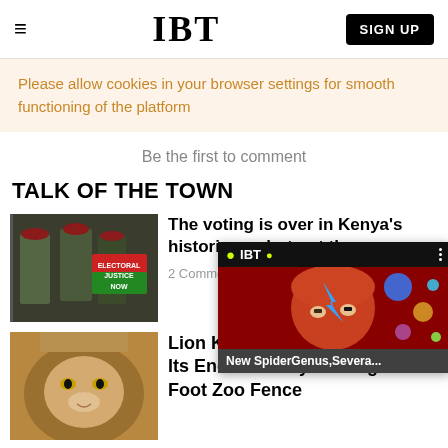IBT  SIGN UP
Please allow cookies in your browser settings for smooth functioning of the platform
Be the first to comment
TALK OF THE TOWN
[Figure (photo): Soldiers holding signs reading ELECTORAL JUSTICE NOW]
The voting is over in Kenya's historic p... but not th...
2 Comments
[Figure (screenshot): IBT video overlay showing a Bowie-like figure with planets, captioned: New SpiderGenus,Severa...]
[Figure (photo): Close-up of a lion's face]
Lion Kills Man Who Entered Its Enclosure By Scaling 10-Foot Zoo Fence